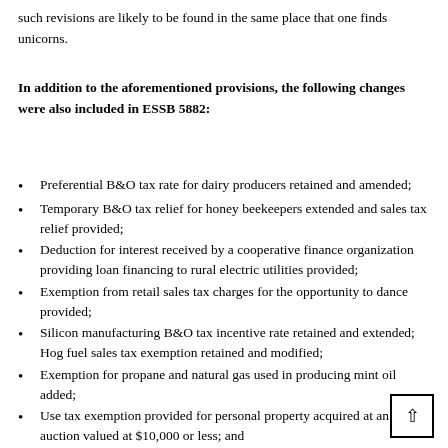such revisions are likely to be found in the same place that one finds unicorns.
In addition to the aforementioned provisions, the following changes were also included in ESSB 5882:
Preferential B&O tax rate for dairy producers retained and amended;
Temporary B&O tax relief for honey beekeepers extended and sales tax relief provided;
Deduction for interest received by a cooperative finance organization providing loan financing to rural electric utilities provided;
Exemption from retail sales tax charges for the opportunity to dance provided;
Silicon manufacturing B&O tax incentive rate retained and extended; Hog fuel sales tax exemption retained and modified;
Exemption for propane and natural gas used in producing mint oil added;
Use tax exemption provided for personal property acquired at an auction valued at $10,000 or less; and
Clean energy incentives extended.